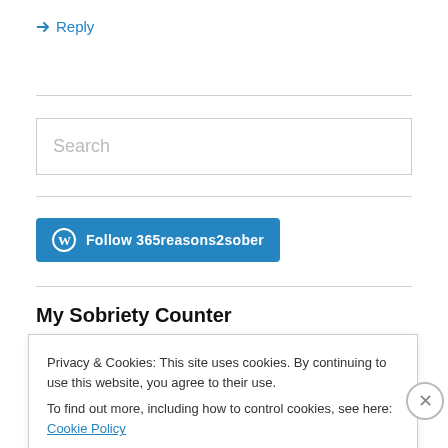↳ Reply
[Figure (screenshot): Search input box with placeholder text 'Search']
[Figure (screenshot): Follow button with WordPress icon: 'Follow 365reasons2sober']
My Sobriety Counter
Privacy & Cookies: This site uses cookies. By continuing to use this website, you agree to their use.
To find out more, including how to control cookies, see here: Cookie Policy
Close and accept